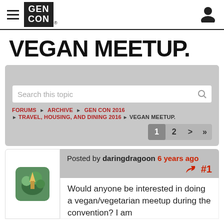GEN CON — navigation header with hamburger menu and user icon
VEGAN MEETUP.
Search this topic
FORUMS › ARCHIVE › GEN CON 2016 › TRAVEL, HOUSING, AND DINING 2016 › VEGAN MEETUP.
Pagination: 1 2 > »
Posted by daringdragoon 6 years ago #1
Would anyone be interested in doing a vegan/vegetarian meetup during the convention? I am